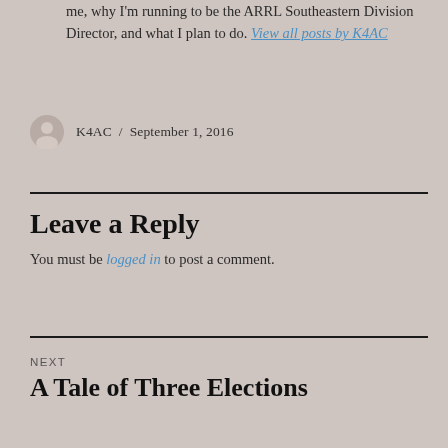me, why I'm running to be the ARRL Southeastern Division Director, and what I plan to do. View all posts by K4AC
K4AC / September 1, 2016
Leave a Reply
You must be logged in to post a comment.
NEXT
A Tale of Three Elections